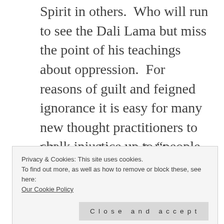Spirit in others.  Who will run to see the Dali Lama but miss the point of his teachings about oppression.  For reasons of guilt and feigned ignorance it is easy for many new thought practitioners to chalk injustice up to “people thinking bad thoughts”, instead of realizing that the system is screwing us all over.
What good is all of this
Privacy & Cookies: This site uses cookies.
To find out more, as well as how to remove or block these, see here:
Our Cookie Policy
Close and accept
waged against people literally rob